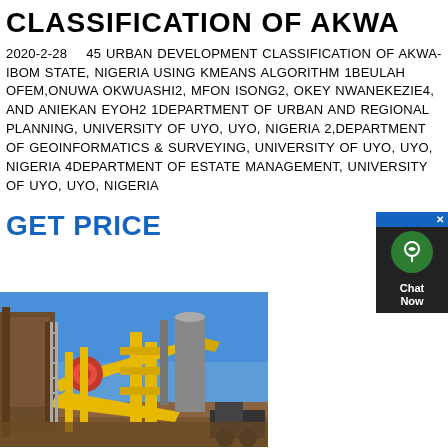CLASSIFICATION OF AKWA
2020-2-28    45 URBAN DEVELOPMENT CLASSIFICATION OF AKWA-IBOM STATE, NIGERIA USING KMEANS ALGORITHM 1BEULAH OFEM,ONUWA OKWUASHI2, MFON ISONG2, OKEY NWANEKEZIE4, AND ANIEKAN EYOH2 1DEPARTMENT OF URBAN AND REGIONAL PLANNING, UNIVERSITY OF UYO, UYO, NIGERIA 2,DEPARTMENT OF GEOINFORMATICS & SURVEYING, UNIVERSITY OF UYO, UYO, NIGERIA 4DEPARTMENT OF ESTATE MANAGEMENT, UNIVERSITY OF UYO, UYO, NIGERIA
GET PRICE
[Figure (photo): Industrial machinery / mining or quarrying equipment with yellow conveyor belts and structures against a blue sky]